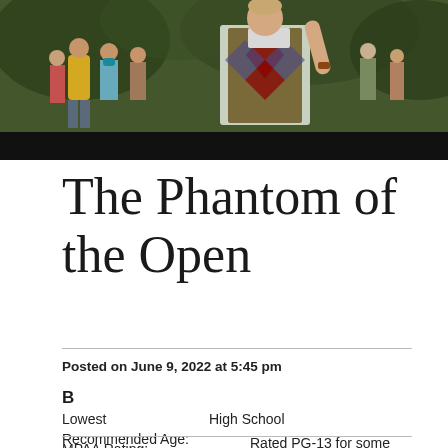[Figure (photo): Movie still showing people outdoors, a man in a colorful argyle vest visible prominently, green foliage background, black bar at bottom of image]
The Phantom of the Open
Posted on June 9, 2022 at 5:45 pm
B
| Lowest Recommended Age: | High School |
| MPAA Rating: | Rated PG-13 for some strong language and smoking |